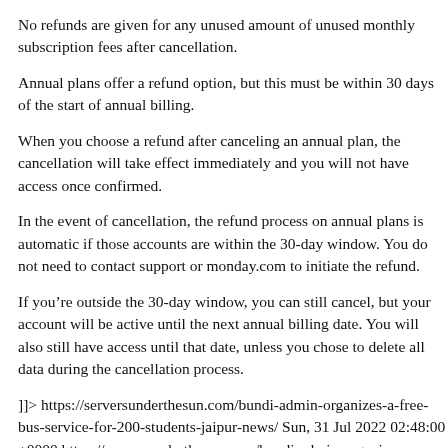No refunds are given for any unused amount of unused monthly subscription fees after cancellation.
Annual plans offer a refund option, but this must be within 30 days of the start of annual billing.
When you choose a refund after canceling an annual plan, the cancellation will take effect immediately and you will not have access once confirmed.
In the event of cancellation, the refund process on annual plans is automatic if those accounts are within the 30-day window. You do not need to contact support or monday.com to initiate the refund.
If you’re outside the 30-day window, you can still cancel, but your account will be active until the next annual billing date. You will also still have access until that date, unless you chose to delete all data during the cancellation process.
]]> https://serversunderthesun.com/bundi-admin-organizes-a-free-bus-service-for-200-students-jaipur-news/ Sun, 31 Jul 2022 02:48:00 +0000 https://serversunderthesun.com/bundi-admin-organizes-a-free-bus-service-for-200-students-jaipur-news/ Jaipur: The bundi The administration arranged a free bus service for around 200 students from Barundhan village to attend a public